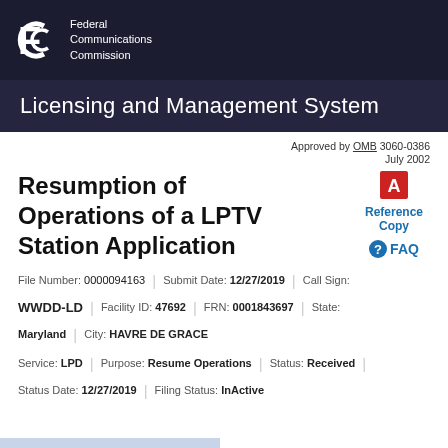Federal Communications Commission
Licensing and Management System
Approved by OMB 3060-0386 July 2002
Resumption of Operations of a LPTV Station Application
[Figure (logo): PDF icon for Reference Copy]
Reference Copy
FAQ
| File Number: | 0000094163 | Submit Date: | 12/27/2019 | Call Sign: |
| WWDD-LD | Facility ID: | 47692 | FRN: | 0001843697 | State: |
| Maryland | City: | HAVRE DE GRACE |
| Service: | LPD | Purpose: | Resume Operations | Status: | Received |
| Status Date: | 12/27/2019 | Filing Status: | InActive |